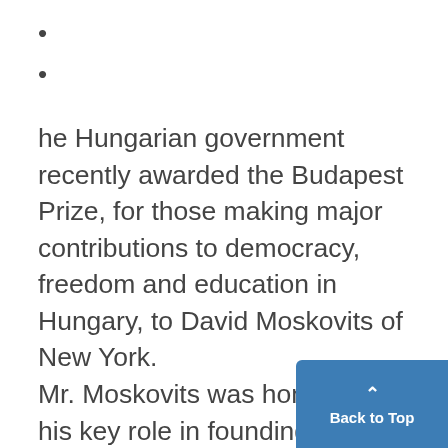•
•
he Hungarian government recently awarded the Budapest Prize, for those making major contributions to democracy, freedom and education in Hungary, to David Moskovits of New York.
Mr. Moskovits was honored for his key role in founding and guiding, without pay, the American Endowment School, a Budapest primary and secondary school that emphasizes democratic principles and offers